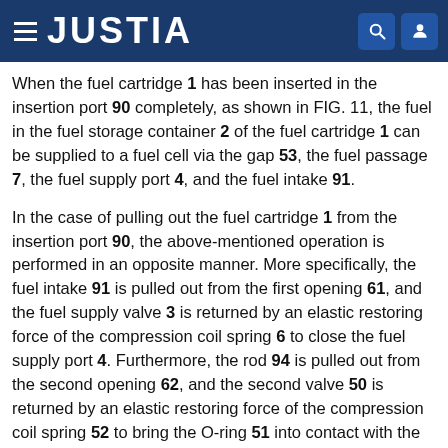JUSTIA
When the fuel cartridge 1 has been inserted in the insertion port 90 completely, as shown in FIG. 11, the fuel in the fuel storage container 2 of the fuel cartridge 1 can be supplied to a fuel cell via the gap 53, the fuel passage 7, the fuel supply port 4, and the fuel intake 91.
In the case of pulling out the fuel cartridge 1 from the insertion port 90, the above-mentioned operation is performed in an opposite manner. More specifically, the fuel intake 91 is pulled out from the first opening 61, and the fuel supply valve 3 is returned by an elastic restoring force of the compression coil spring 6 to close the fuel supply port 4. Furthermore, the rod 94 is pulled out from the second opening 62, and the second valve 50 is returned by an elastic restoring force of the compression coil spring 52 to bring the O-ring 51 into contact with the case 1a.